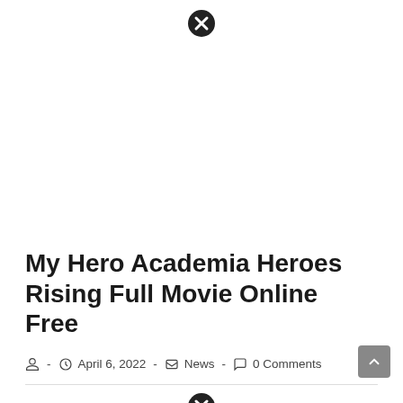[Figure (other): Close/dismiss icon (circled X) at top center of page]
[Figure (other): Advertisement or image placeholder area (blank white space)]
My Hero Academia Heroes Rising Full Movie Online Free
April 6, 2022 - News - 0 Comments
[Figure (other): Close/dismiss icon (circled X) at bottom center of page]